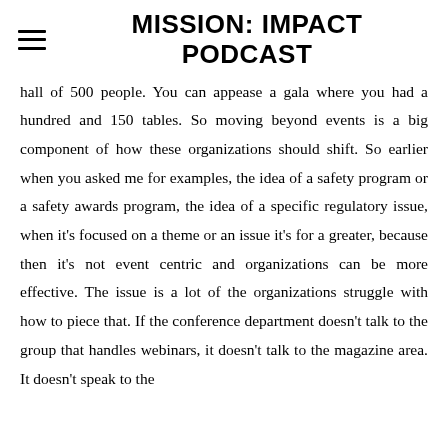MISSION: IMPACT PODCAST
hall of 500 people. You can appease a gala where you had a hundred and 150 tables. So moving beyond events is a big component of how these organizations should shift. So earlier when you asked me for examples, the idea of a safety program or a safety awards program, the idea of a specific regulatory issue, when it's focused on a theme or an issue it's for a greater, because then it's not event centric and organizations can be more effective. The issue is a lot of the organizations struggle with how to piece that. If the conference department doesn't talk to the group that handles webinars, it doesn't talk to the magazine area. It doesn't speak to the